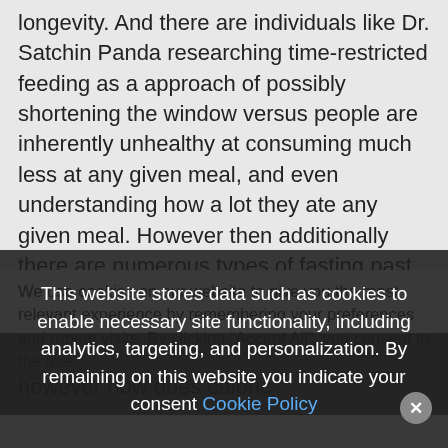longevity. And there are individuals like Dr. Satchin Panda researching time-restricted feeding as a approach of possibly shortening the window versus people are inherently unhealthy at consuming much less at any given meal, and even understanding how a lot they ate any given meal. However then additionally there are numerous types of fasting past simply time-restricted consuming. And I do know these all have a special place type of on this well being equation, however how does caloric
We use cookies on our website to give you the most relevant experience by remembering your preferences and repeat visits. By clicking “Accept All”, you consent to the use of ALL the cookies. However, you may visit “Cookie Settings” to provide a controlled consent
This website stores data such as cookies to enable necessary site functionality, including analytics, targeting, and personalization. By remaining on this website you indicate your consent Cookie Policy